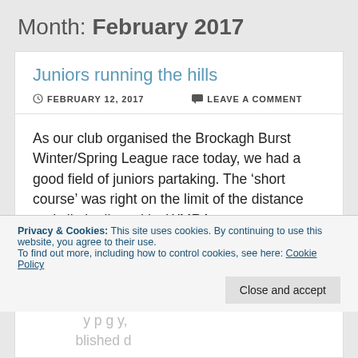Month: February 2017
Juniors running the hills
FEBRUARY 12, 2017   LEAVE A COMMENT
As our club organised the Brockagh Burst Winter/Spring League race today, we had a good field of juniors partaking. The ‘short course’ was right on the limit of the distance and climb allowed by WMRA
Privacy & Cookies: This site uses cookies. By continuing to use this website, you agree to their use.
To find out more, including how to control cookies, see here: Cookie Policy
Close and accept